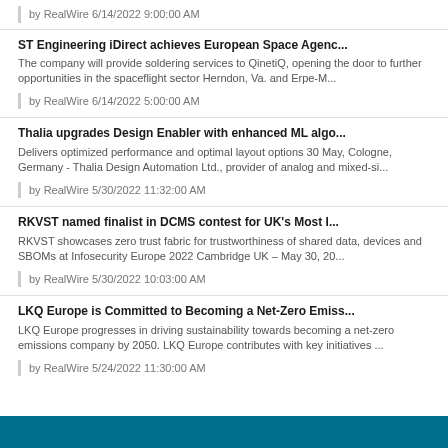by RealWire 6/14/2022 9:00:00 AM
ST Engineering iDirect achieves European Space Agenc...
The company will provide soldering services to QinetiQ, opening the door to further opportunities in the spaceflight sector Herndon, Va. and Erpe-M...
by RealWire 6/14/2022 5:00:00 AM
Thalia upgrades Design Enabler with enhanced ML algo...
Delivers optimized performance and optimal layout options 30 May, Cologne, Germany - Thalia Design Automation Ltd., provider of analog and mixed-si...
by RealWire 5/30/2022 11:32:00 AM
RKVST named finalist in DCMS contest for UK's Most I...
RKVST showcases zero trust fabric for trustworthiness of shared data, devices and SBOMs at Infosecurity Europe 2022 Cambridge UK – May 30, 20...
by RealWire 5/30/2022 10:03:00 AM
LKQ Europe is Committed to Becoming a Net-Zero Emiss...
LKQ Europe progresses in driving sustainability towards becoming a net-zero emissions company by 2050. LKQ Europe contributes with key initiatives ...
by RealWire 5/24/2022 11:30:00 AM